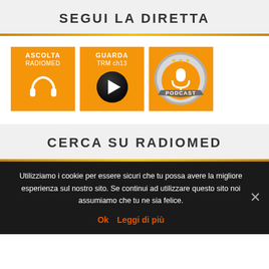SEGUI LA DIRETTA
[Figure (infographic): Three orange buttons: ASCOLTA RADIOMED with headphone icon, GUARDA TRM ch13 with play button, and PODCAST with microphone badge]
CERCA SU RADIOMED
Utilizziamo i cookie per essere sicuri che tu possa avere la migliore esperienza sul nostro sito. Se continui ad utilizzare questo sito noi assumiamo che tu ne sia felice.
Ok   Leggi di più